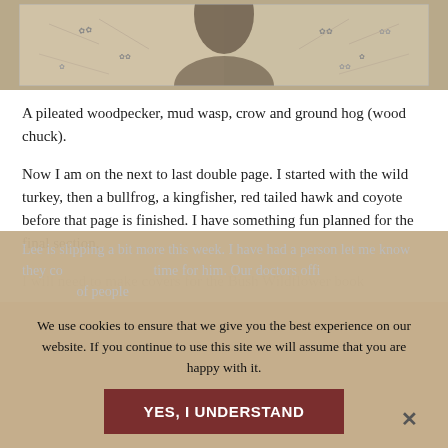[Figure (photo): A close-up photograph of an animal (appears to be a pug or similar animal) with fur texture and markings, shown as a wide cropped strip at the top of the page.]
A pileated woodpecker, mud wasp, crow and ground hog (wood chuck).
Now I am on the next to last double page. I started with the wild turkey, then a bullfrog, a kingfisher, red tailed hawk and coyote before that page is finished. I have something fun planned for the final section.
I will need to make covers for the Bush Wildflower book...
Lee is slipping a bit more this week. I have had a person let me know they could spend some time for him. Our doctors office is sending a list of names of people...
We use cookies to ensure that we give you the best experience on our website. If you continue to use this site we will assume that you are happy with it.
YES, I UNDERSTAND